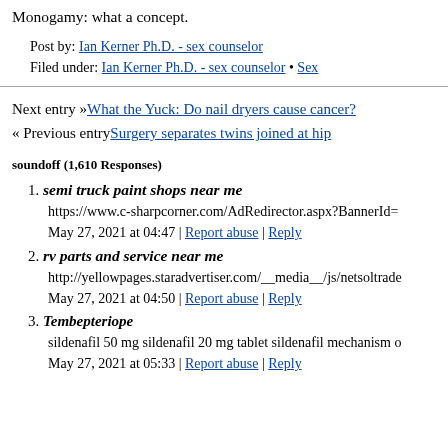Monogamy: what a concept.
Post by: Ian Kerner Ph.D. - sex counselor
Filed under: Ian Kerner Ph.D. - sex counselor • Sex
Next entry »What the Yuck: Do nail dryers cause cancer?
« Previous entrySurgery separates twins joined at hip
soundoff (1,610 Responses)
1. semi truck paint shops near me
https://www.c-sharpcorner.com/AdRedirector.aspx?BannerId=
May 27, 2021 at 04:47 | Report abuse | Reply
2. rv parts and service near me
http://yellowpages.staradvertiser.com/__media__/js/netsoltrade
May 27, 2021 at 04:50 | Report abuse | Reply
3. Tembepteriope
sildenafil 50 mg sildenafil 20 mg tablet sildenafil mechanism o
May 27, 2021 at 05:33 | Report abuse | Reply